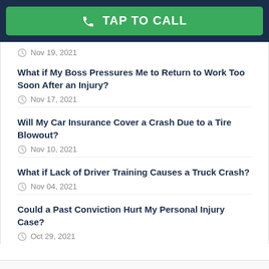TAP TO CALL
Nov 19, 2021
What if My Boss Pressures Me to Return to Work Too Soon After an Injury?
Nov 17, 2021
Will My Car Insurance Cover a Crash Due to a Tire Blowout?
Nov 10, 2021
What if Lack of Driver Training Causes a Truck Crash?
Nov 04, 2021
Could a Past Conviction Hurt My Personal Injury Case?
Oct 29, 2021